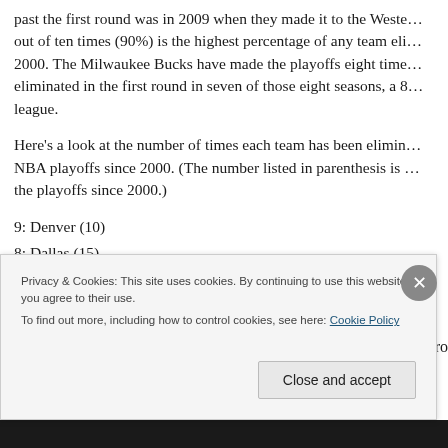past the first round was in 2009 when they made it to the Weste... out of ten times (90%) is the highest percentage of any team eli... 2000. The Milwaukee Bucks have made the playoffs eight time... eliminated in the first round in seven of those eight seasons, a 8... league.
Here’s a look at the number of times each team has been elimi... NBA playoffs since 2000. (The number listed in parenthesis is ... the playoffs since 2000.)
9: Denver (10)
8: Dallas (15)
7: Houston (9), Milwaukee (8), Portland (10)
Privacy & Cookies: This site uses cookies. By continuing to use this website, you agree to their use. To find out more, including how to control cookies, see here: Cookie Policy
Close and accept